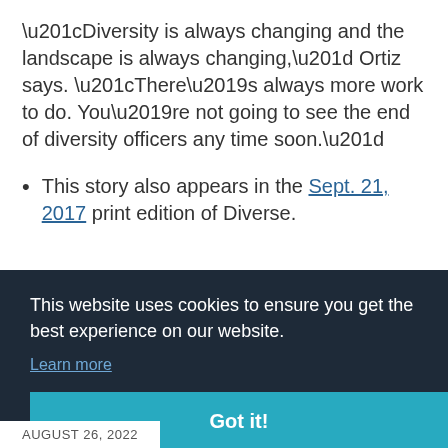“Diversity is always changing and the landscape is always changing,” Ortiz says. “There’s always more work to do. You’re not going to see the end of diversity officers any time soon.”
This story also appears in the Sept. 21, 2017 print edition of Diverse.
This website uses cookies to ensure you get the best experience on our website.
Learn more
Got it!
AUGUST 26, 2022